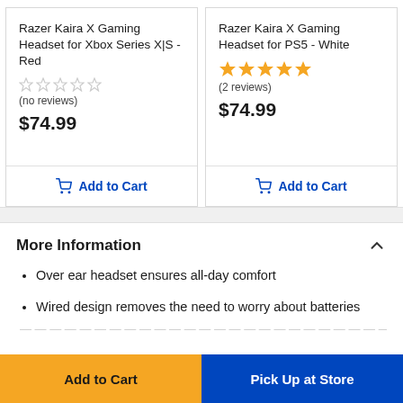Razer Kaira X Gaming Headset for Xbox Series X|S - Red
(no reviews)
$74.99
Add to Cart
Razer Kaira X Gaming Headset for PS5 - White
(2 reviews)
$74.99
Add to Cart
More Information
Over ear headset ensures all-day comfort
Wired design removes the need to worry about batteries
Add to Cart
Pick Up at Store